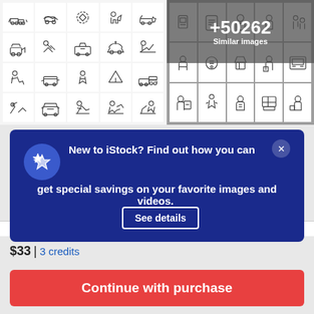[Figure (illustration): Grid of line-art icons showing car accidents, insurance scenarios (tow trucks, crashes, people, vehicles) on white background, left panel]
[Figure (illustration): Grid of line-art icons showing various service/person icons on grey background, right panel, with overlay showing +50262 Similar images]
+50262 Similar images
New to iStock? Find out how you can get special savings on your favorite images and videos.
See details
$33 | 3 credits
Continue with purchase